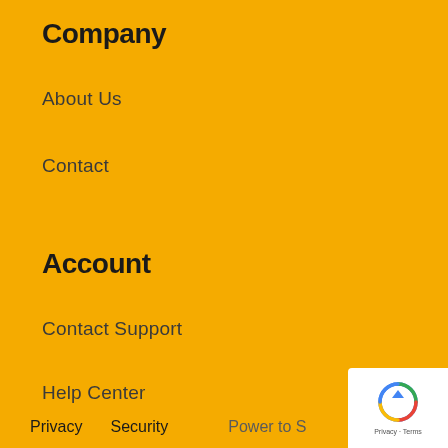Company
About Us
Contact
Account
Contact Support
Help Center
Privacy   Security   Power to S...